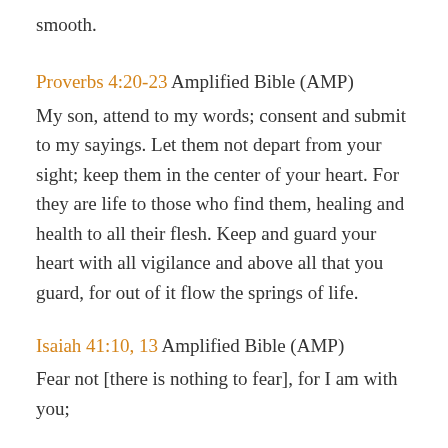smooth.
Proverbs 4:20-23 Amplified Bible (AMP)
My son, attend to my words; consent and submit to my sayings. Let them not depart from your sight; keep them in the center of your heart. For they are life to those who find them, healing and health to all their flesh. Keep and guard your heart with all vigilance and above all that you guard, for out of it flow the springs of life.
Isaiah 41:10, 13 Amplified Bible (AMP)
Fear not [there is nothing to fear], for I am with you;